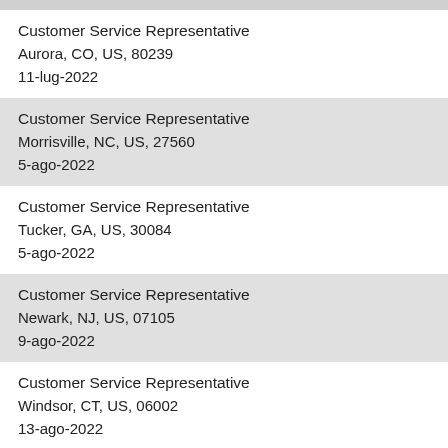Customer Service Representative
Aurora, CO, US, 80239
11-lug-2022
Customer Service Representative
Morrisville, NC, US, 27560
5-ago-2022
Customer Service Representative
Tucker, GA, US, 30084
5-ago-2022
Customer Service Representative
Newark, NJ, US, 07105
9-ago-2022
Customer Service Representative
Windsor, CT, US, 06002
13-ago-2022
Customer Service Representative
Portsmouth, VA, US, 23701